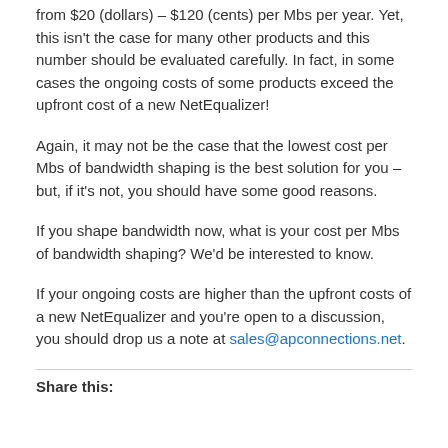from $20 (dollars) – $120 (cents) per Mbs per year. Yet, this isn't the case for many other products and this number should be evaluated carefully. In fact, in some cases the ongoing costs of some products exceed the upfront cost of a new NetEqualizer!
Again, it may not be the case that the lowest cost per Mbs of bandwidth shaping is the best solution for you – but, if it's not, you should have some good reasons.
If you shape bandwidth now, what is your cost per Mbs of bandwidth shaping? We'd be interested to know.
If your ongoing costs are higher than the upfront costs of a new NetEqualizer and you're open to a discussion, you should drop us a note at sales@apconnections.net.
Share this: